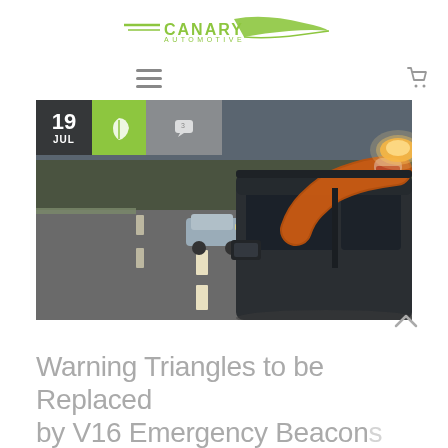Canary Automotive
[Figure (photo): Person extending arm out of car window placing an orange emergency beacon light on the car roof, on a road with another car visible in the background. Person wearing an orange fluffy sleeve and a smartwatch.]
Warning Triangles to be Replaced by V16 Emergency Beacons